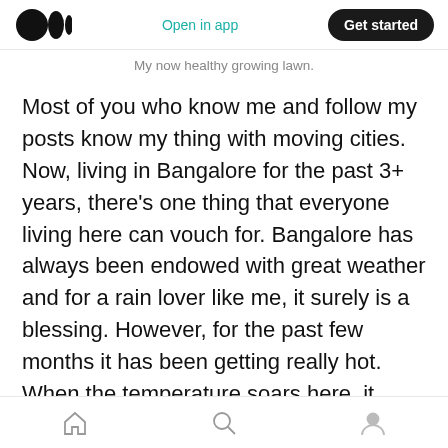Open in app | Get started
My now healthy growing lawn.
Most of you who know me and follow my posts know my thing with moving cities. Now, living in Bangalore for the past 3+ years, there's one thing that everyone living here can vouch for. Bangalore has always been endowed with great weather and for a rain lover like me, it surely is a blessing. However, for the past few months it has been getting really hot. When the temperature soars here, it starts to drizzle. And that is what happened, it rained a fair bit in the past few days here and that is what I wanted to talk about
Home | Search | Profile